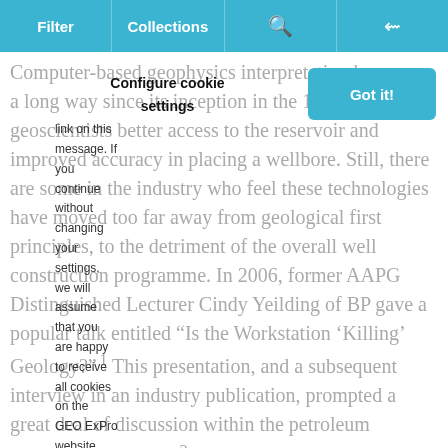Filter | Collections | [search icon] | [share icon]
Configure cookie settings
link on this message. If you continue without changing your settings, we will assume that you are happy to receive all cookies on the GEO ExPro website.
Got it!
Computer-based geophysics interpretation has come a long way since its inception in the 1980s, giving geoscientists better access to the reservoir and improved accuracy in placing a wellbore. Still, there are some in the industry who feel these technologies have moved too far away from geological first principles, to the detriment of the overall well construction programme. In 2006, former AAPG Distinguished Lecturer Cindy Yeilding of BP gave a popular talk entitled "Is the Workstation 'Killing' Geology?".¹ This presentation, and a subsequent interview in an industry publication, prompted a great deal of discussion within the petroleum geologist community².
Yeilding's basic argument was that, given the allure and speed of modern digital workstations, geoscientists sometimes lose track of the geological basics. This may create a tendency to shortcut tenets they relied on 30 ye…